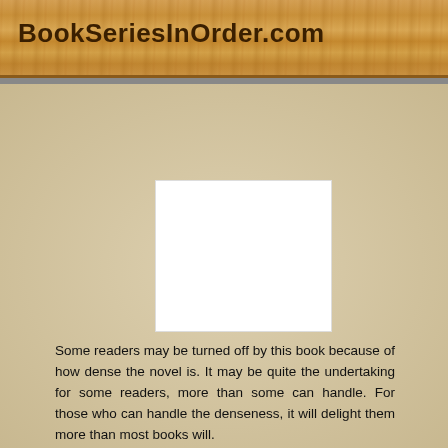BookSeriesInOrder.com
[Figure (other): White rectangular placeholder image area]
Some readers may be turned off by this book because of how dense the novel is. It may be quite the undertaking for some readers, more than some can handle. For those who can handle the denseness, it will delight them more than most books will.
“number9dream” is the second book by David Mitchell. This book features one narrator, Eiji, and a coming of age story; it also contains what actually happens in Eiji’s life with what he fantasizes happening in his life as well. Eiji is visiting Tokyo to meet his father for the first time. Eiji’s sister has recently died and his mother is an